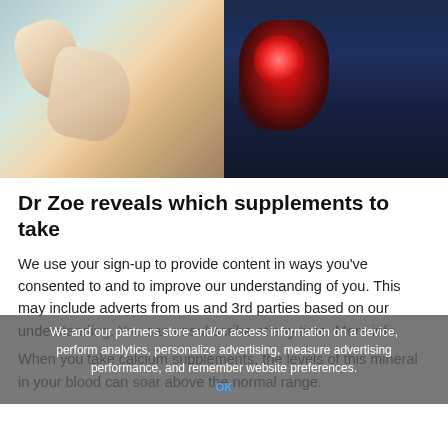[Figure (photo): Left half: hands exchanging a supplement pill. Right half: medical illustration of human chest with glowing red heart.]
Dr Zoe reveals which supplements to take
We use your sign-up to provide content in ways you've consented to and to improve our understanding of you. This may include adverts from us and 3rd parties based on our understanding. You can unsubscribe at any time. More info
We and our partners store and/or access information on a device, perform analytics, personalize advertising, measure advertising performance, and remember website preferences.
When you take calcium supplements, the levels of this mineral in your blood can soar above the normal range.